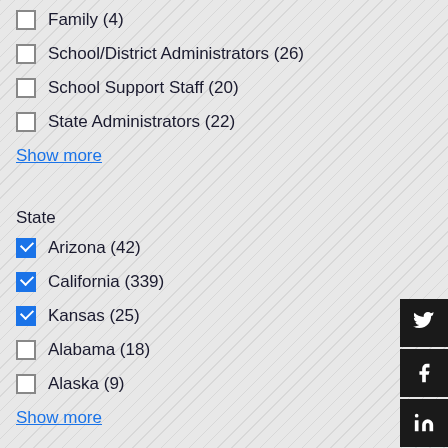Family (4)
School/District Administrators (26)
School Support Staff (20)
State Administrators (22)
Show more
State
Arizona (42)
California (339)
Kansas (25)
Alabama (18)
Alaska (9)
Show more
Topic
Engagement (56)